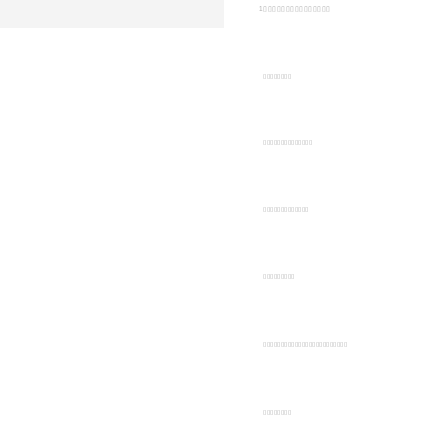[Figure (other): Gray horizontal bar placeholder image on the left side of the page header]
1▯▯▯▯▯▯▯▯▯▯▯▯▯▯▯
▯▯▯▯▯▯▯▯
▯▯▯▯▯▯▯▯▯▯▯▯▯▯
▯▯▯▯▯▯▯▯▯▯▯▯▯
▯▯▯▯▯▯▯▯▯
▯▯▯▯▯▯▯▯▯▯▯▯▯▯▯▯▯▯▯▯▯▯▯▯
▯▯▯▯▯▯▯▯